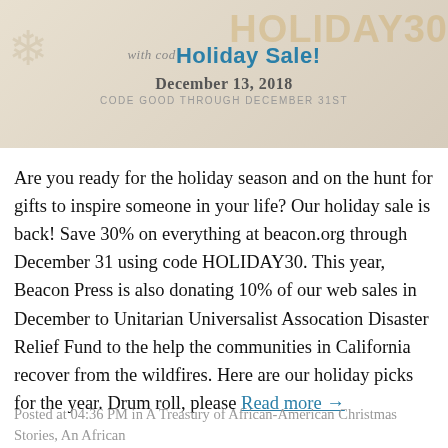[Figure (illustration): Holiday sale banner with 'Holiday Sale!' heading, date December 13, 2018, code HOLIDAY30, decorative snowflake and gold text overlay]
Are you ready for the holiday season and on the hunt for gifts to inspire someone in your life? Our holiday sale is back! Save 30% on everything at beacon.org through December 31 using code HOLIDAY30. This year, Beacon Press is also donating 10% of our web sales in December to Unitarian Universalist Assocation Disaster Relief Fund to the help the communities in California recover from the wildfires. Here are our holiday picks for the year. Drum roll, please Read more →
Posted at 04:36 PM in A Treasury of African-American Christmas Stories, An African